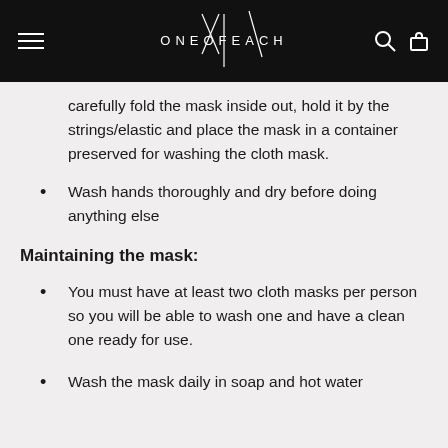ONEOFEACH
carefully fold the mask inside out, hold it by the strings/elastic and place the mask in a container preserved for washing the cloth mask.
Wash hands thoroughly and dry before doing anything else
Maintaining the mask:
You must have at least two cloth masks per person so you will be able to wash one and have a clean one ready for use.
Wash the mask daily in soap and hot water